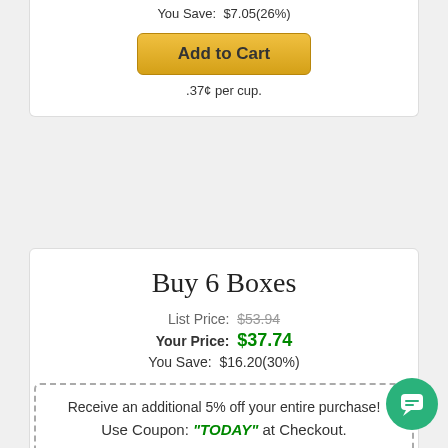You Save:  $7.05(26%)
Add to Cart
.37¢ per cup.
Buy 6 Boxes
List Price:  $53.94
Your Price:  $37.74
You Save:  $16.20(30%)
Add to Cart
.35¢ per cup.
Receive an additional 5% off your entire purchase!
Use Coupon: "TODAY" at Checkout.